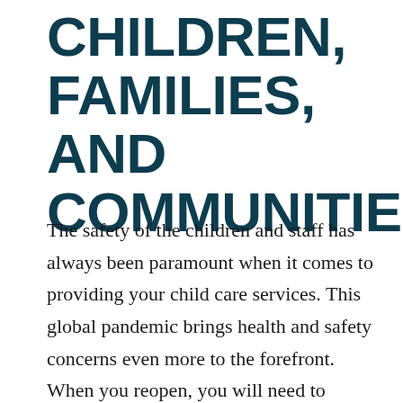CHILDREN, FAMILIES, AND COMMUNITIES
The safety of the children and staff has always been paramount when it comes to providing your child care services. This global pandemic brings health and safety concerns even more to the forefront. When you reopen, you will need to incorporate additional precautions to minimize the risk of exposure to the coronavirus. In addition to considering and mitigating risks to the children and staff in